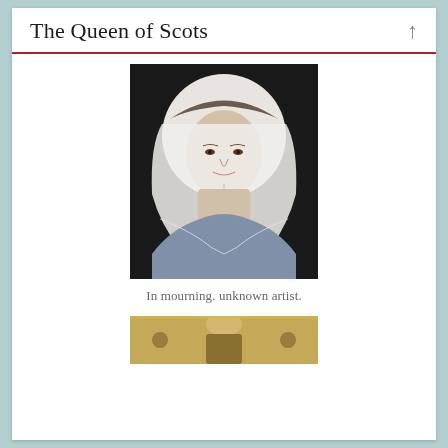The Queen of Scots
[Figure (photo): Portrait painting of Mary Queen of Scots in mourning white veil and white dress, by unknown artist, dark background, three-quarter view facing slightly right.]
In mourning. unknown artist.
[Figure (photo): Partial view of another portrait painting at the bottom of the page, showing a figure with an ornate golden/green background.]